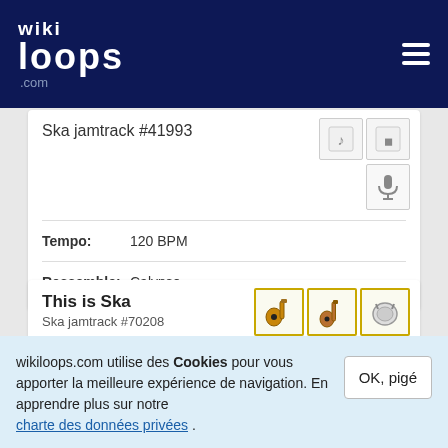wikiloops.com
Ska jamtrack #41993
Tempo: 120 BPM
Ressemble: Calypso
This is Ska
Ska jamtrack #70208
wikiloops.com utilise des Cookies pour vous apporter la meilleure expérience de navigation. En apprendre plus sur notre charte des données privées .